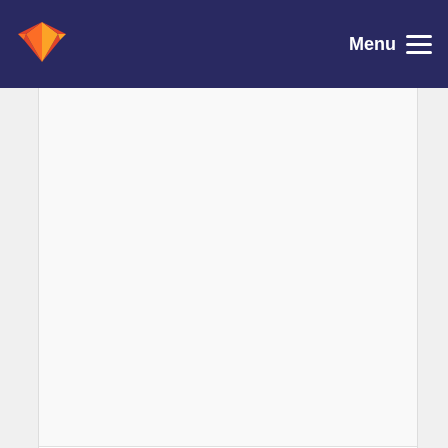Menu
forgot this.
Pedro Gonnet committed 9 years ago
switch to autotools.
Pedro Gonnet committed 9 years ago